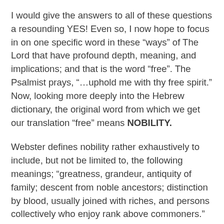I would give the answers to all of these questions a resounding YES!  Even so, I now hope to focus in on one specific word in these “ways” of The Lord that have profound depth, meaning, and implications; and that is the word “free”.  The Psalmist prays, “…uphold me with thy free spirit.”  Now, looking more deeply into the Hebrew dictionary, the original word from which we get our translation “free” means NOBILITY.
Webster defines nobility rather exhaustively to include, but not be limited to, the following meanings; “greatness, grandeur, antiquity of family; descent from noble ancestors; distinction by blood, usually joined with riches, and persons collectively who enjoy rank above commoners.”  Looking at these meanings, can you now see why I’m so excited to point this out?   David is literally praying that he will be upheld by God’s free (aka noble, great, distinct by